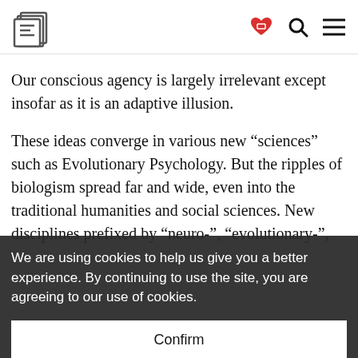E [logo] [heart icon] [search icon] [menu icon]
Our conscious agency is largely irrelevant except insofar as it is an adaptive illusion.
These ideas converge in various new “sciences” such as Evolutionary Psychology. But the ripples of biologism spread far and wide, even into the traditional humanities and social sciences. New disciplines prefixed by “neuro-”, “evolutionary-”, or “neuro-evolutionary” are increasingly the rage. [partially obscured] and the other social sciences, including the waiting to be included in The Modern Synthesis”.
We are using cookies to help us give you a better experience. By continuing to use the site, you are agreeing to our use of cookies.
Confirm